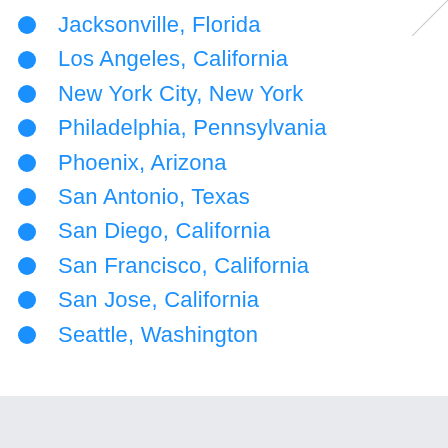Jacksonville, Florida
Los Angeles, California
New York City, New York
Philadelphia, Pennsylvania
Phoenix, Arizona
San Antonio, Texas
San Diego, California
San Francisco, California
San Jose, California
Seattle, Washington